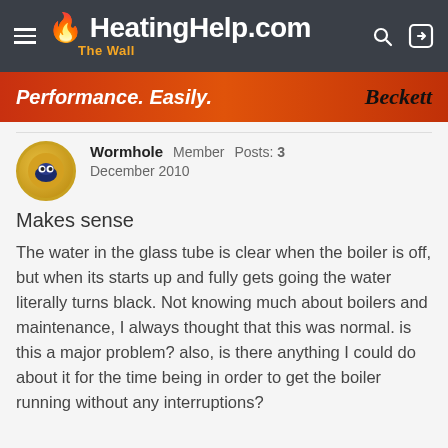HeatingHelp.com The Wall
[Figure (screenshot): Beckett advertisement banner: 'Performance. Easily.' with Beckett logo]
Wormhole  Member  Posts: 3
December 2010
Makes sense
The water in the glass tube is clear when the boiler is off, but when its starts up and fully gets going the water literally turns black. Not knowing much about boilers and maintenance, I always thought that this was normal. is this a major problem? also, is there anything I could do about it for the time being in order to get the boiler running without any interruptions?